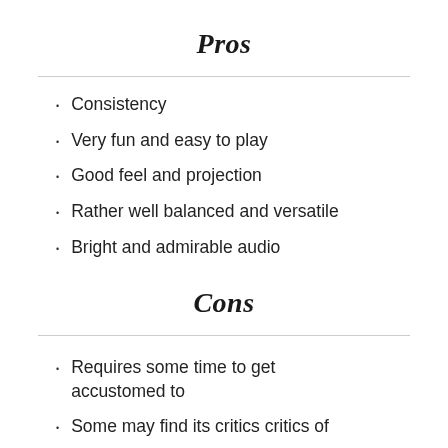Pros
Consistency
Very fun and easy to play
Good feel and projection
Rather well balanced and versatile
Bright and admirable audio
Cons
Requires some time to get accustomed to
Some may find its critics critics of